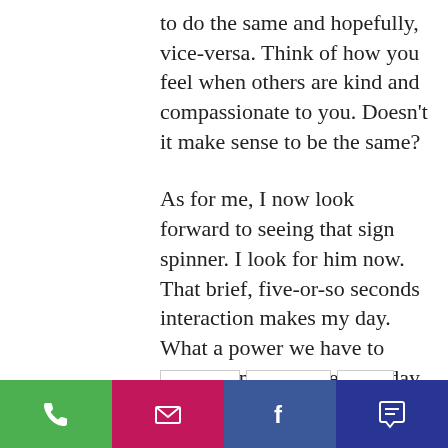to do the same and hopefully, vice-versa. Think of how you feel when others are kind and compassionate to you. Doesn't it make sense to be the same?

As for me, I now look forward to seeing that sign spinner. I look for him now. That brief, five-or-so seconds interaction makes my day. What a power we have to possibly make someone's day better or worse simply by choosing attitudes and behaviors that make it so. I say, choose wisely.
[Figure (other): Bottom action bar with four buttons: green phone icon, pink/magenta email envelope icon, blue Facebook icon, dark blue chat/comment icon]